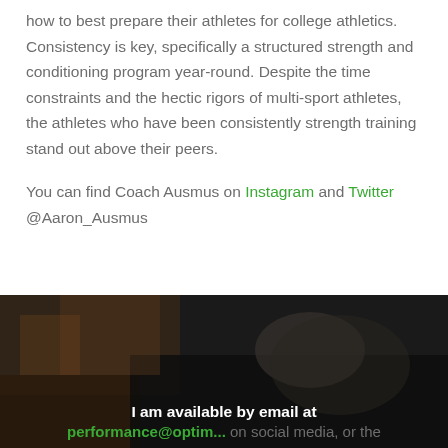how to best prepare their athletes for college athletics. Consistency is key, specifically a structured strength and conditioning program year-round. Despite the time constraints and the hectic rigors of multi-sport athletes, the athletes who have been consistently strength training stand out above their peers.
You can find Coach Ausmus on Instagram and Twitter @Aaron_Ausmus
[Figure (photo): Dark background image of a hand, overlaid with centered white bold text reading 'I am available by email at' and a green link below partially visible reading 'performance@...' followed by gray text 'on social media, or the']